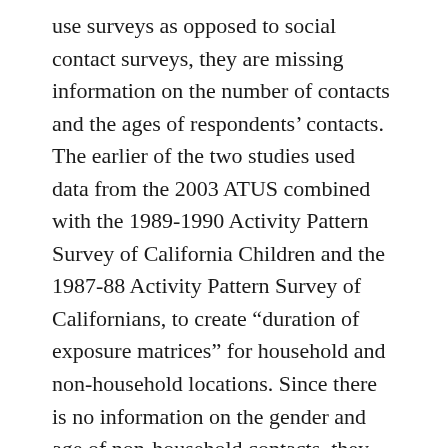use surveys as opposed to social contact surveys, they are missing information on the number of contacts and the ages of respondents' contacts. The earlier of the two studies used data from the 2003 ATUS combined with the 1989-1990 Activity Pattern Survey of California Children and the 1987-88 Activity Pattern Survey of Californians, to create “duration of exposure matrices” for household and non-household locations. Since there is no information on the gender and age of non-household contacts, they had to use the proximate mixing assumption to estimate the ages of non-household contacts. They were not able to generate matrices with the mean number